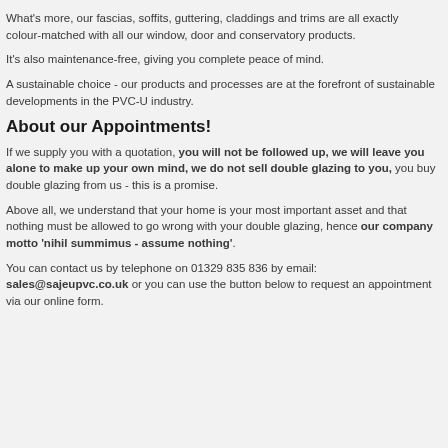What's more, our fascias, soffits, guttering, claddings and trims are all exactly colour-matched with all our window, door and conservatory products.
It's also maintenance-free, giving you complete peace of mind.
A sustainable choice - our products and processes are at the forefront of sustainable developments in the PVC-U industry.
About our Appointments!
If we supply you with a quotation, you will not be followed up, we will leave you alone to make up your own mind, we do not sell double glazing to you, you buy double glazing from us - this is a promise.
Above all, we understand that your home is your most important asset and that nothing must be allowed to go wrong with your double glazing, hence our company motto 'nihil summimus - assume nothing'.
You can contact us by telephone on 01329 835 836 by email: sales@sajeupvc.co.uk or you can use the button below to request an appointment via our online form.